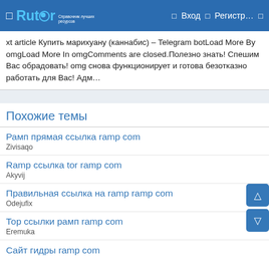Rutor — Вход — Регистр...
xt article Купить марихуану (каннабис) – Telegram botLoad More By omgLoad More In omgComments are closed.Полезно знать! Спешим Вас обрадовать! omg снова функционирует и готова безотказно работать для Вас! Адм…
Похожие темы
Рамп прямая ссылка ramp com
Zivisaqo
Ramp ссылка tor ramp com
Akyvij
Правильная ссылка на ramp ramp com
Odejufix
Тор ссылки рамп ramp com
Eremuka
Сайт гидры ramp com